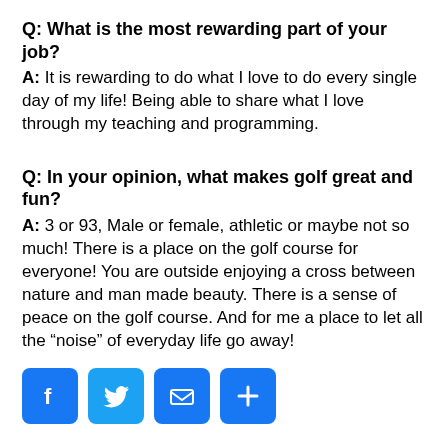Q: What is the most rewarding part of your job?
A: It is rewarding to do what I love to do every single day of my life! Being able to share what I love through my teaching and programming.
Q: In your opinion, what makes golf great and fun?
A: 3 or 93, Male or female, athletic or maybe not so much! There is a place on the golf course for everyone! You are outside enjoying a cross between nature and man made beauty.  There is a sense of peace on the golf course.  And for me a place to let all the “noise” of everyday life go away!
[Figure (infographic): Four social sharing buttons: Facebook (f), Twitter (bird), Email (envelope), Share (+), all with blue rounded square backgrounds.]